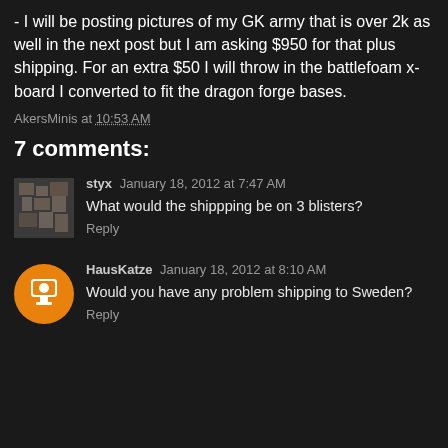- I will be posting pictures of my GK army that is over 2k as well in the next post but I am asking $950 for that plus shipping. For an extra $50 I will throw in the battlefoam x-board I converted to fit the dragon forge bases.
AkersMinis at 10:53 AM
7 comments:
styx  January 18, 2012 at 7:47 AM
What would the shippping be on 3 blisters?
Reply
HausKatze  January 18, 2012 at 8:10 AM
Would you have any problem shipping to Sweden?
Reply